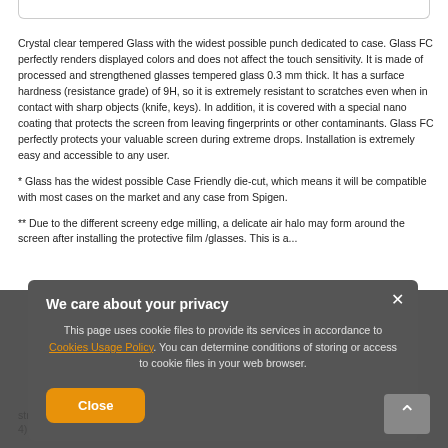Crystal clear tempered Glass with the widest possible punch dedicated to case. Glass FC perfectly renders displayed colors and does not affect the touch sensitivity. It is made of processed and strengthened glasses tempered glass 0.3 mm thick. It has a surface hardness (resistance grade) of 9H, so it is extremely resistant to scratches even when in contact with sharp objects (knife, keys). In addition, it is covered with a special nano coating that protects the screen from leaving fingerprints or other contaminants. Glass FC perfectly protects your valuable screen during extreme drops. Installation is extremely easy and accessible to any user.
* Glass has the widest possible Case Friendly die-cut, which means it will be compatible with most cases on the market and any case from Spigen.
** Due to the different screeny edge milling, a delicate air halo may form around the screen after installing the protective film /glasses. This is a...
strips of tape, taping them to the side of the unit.
4) Get rid of any air bubbles by pressing down firmly in a circular motion
[Figure (screenshot): Privacy/cookie consent modal overlay with dark semi-transparent background. Modal contains title 'We care about your privacy', body text about cookie usage policy with an orange hyperlink 'Cookies Usage Policy', a Close button in orange, and an X close button. Background shows back-to-top arrow button.]